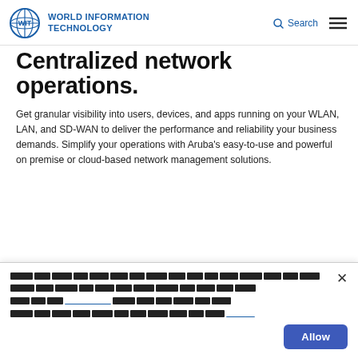WORLD INFORMATION TECHNOLOGY | Search | Menu
Centralized network operations.
Get granular visibility into users, devices, and apps running on your WLAN, LAN, and SD-WAN to deliver the performance and reliability your business demands. Simplify your operations with Aruba's easy-to-use and powerful on premise or cloud-based network management solutions.
[Cookie consent banner with redacted text and Allow button]